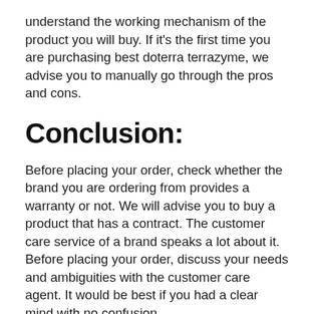understand the working mechanism of the product you will buy. If it's the first time you are purchasing best doterra terrazyme, we advise you to manually go through the pros and cons.
Conclusion:
Before placing your order, check whether the brand you are ordering from provides a warranty or not. We will advise you to buy a product that has a contract. The customer care service of a brand speaks a lot about it. Before placing your order, discuss your needs and ambiguities with the customer care agent. It would be best if you had a clear mind with no confusion.